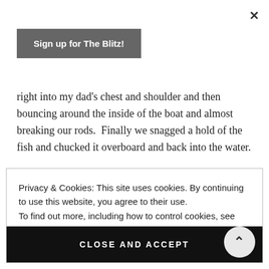×
Sign up for The Blitz!
right into my dad's chest and shoulder and then bouncing around the inside of the boat and almost breaking our rods.  Finally we snagged a hold of the fish and chucked it overboard and back into the water.

20 minutes later we were casting small white poppers
Privacy & Cookies: This site uses cookies. By continuing to use this website, you agree to their use.
To find out more, including how to control cookies, see here: Cookie Policy
CLOSE AND ACCEPT